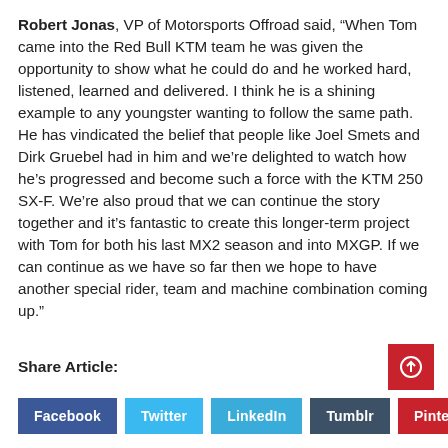Robert Jonas, VP of Motorsports Offroad said, "When Tom came into the Red Bull KTM team he was given the opportunity to show what he could do and he worked hard, listened, learned and delivered. I think he is a shining example to any youngster wanting to follow the same path. He has vindicated the belief that people like Joel Smets and Dirk Gruebel had in him and we're delighted to watch how he's progressed and become such a force with the KTM 250 SX-F. We're also proud that we can continue the story together and it's fantastic to create this longer-term project with Tom for both his last MX2 season and into MXGP. If we can continue as we have so far then we hope to have another special rider, team and machine combination coming up."
Share Article: